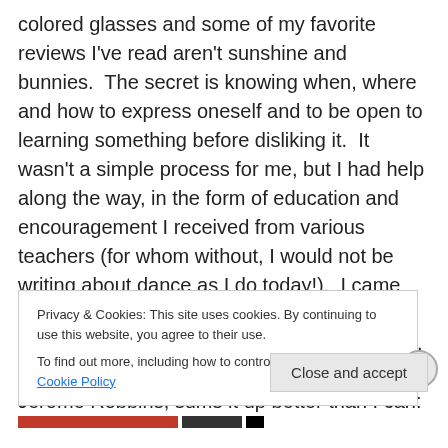colored glasses and some of my favorite reviews I've read aren't sunshine and bunnies.  The secret is knowing when, where and how to express oneself and to be open to learning something before disliking it.  It wasn't a simple process for me, but I had help along the way, in the form of education and encouragement I received from various teachers (for whom without, I would not be writing about dance as I do today!).  I came across a video a few days ago of sardonic New York humorist and author Fran Lebowitz, who in talking about her relationship with Jerome Robbins, sums it up better than I can:
Privacy & Cookies: This site uses cookies. By continuing to use this website, you agree to their use.
To find out more, including how to control cookies, see here: Cookie Policy
Close and accept